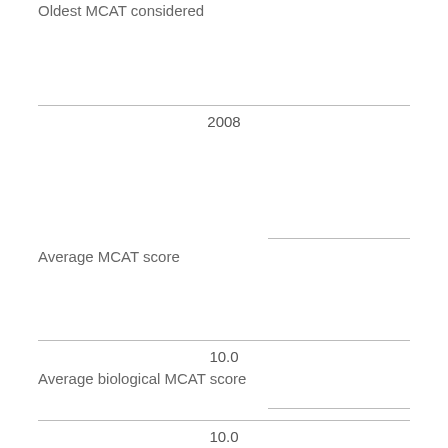Oldest MCAT considered
2008
Average MCAT score
10.0
Average biological MCAT score
10.0